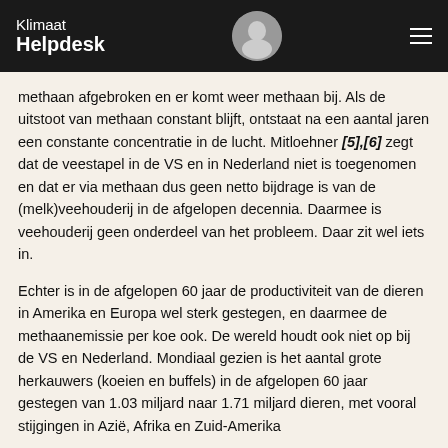Klimaat Helpdesk
methaan afgebroken en er komt weer methaan bij. Als de uitstoot van methaan constant blijft, ontstaat na een aantal jaren een constante concentratie in de lucht. Mitloehner [5],[6] zegt dat de veestapel in de VS en in Nederland niet is toegenomen en dat er via methaan dus geen netto bijdrage is van de (melk)veehouderij in de afgelopen decennia. Daarmee is veehouderij geen onderdeel van het probleem. Daar zit wel iets in.
Echter is in de afgelopen 60 jaar de productiviteit van de dieren in Amerika en Europa wel sterk gestegen, en daarmee de methaanemissie per koe ook. De wereld houdt ook niet op bij de VS en Nederland. Mondiaal gezien is het aantal grote herkauwers (koeien en buffels) in de afgelopen 60 jaar gestegen van 1.03 miljard naar 1.71 miljard dieren, met vooral stijgingen in Azië, Afrika en Zuid-Amerika